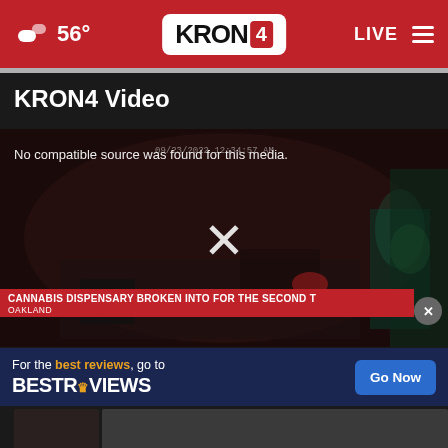56° KRON4 LIVE
KRON4 Video
[Figure (screenshot): Video player showing a security camera footage of a room, with error message 'No compatible source was found for this media.' and a large X close button. A red breaking news ticker reads 'CANNABIS DISPENSARY BROKEN INTO FOR THE SECOND T...' with location 'OAKLAND'.]
[Figure (infographic): Advertisement banner: 'For the best reviews, go to BESTREVIEWS' with a 'Go Now' blue button.]